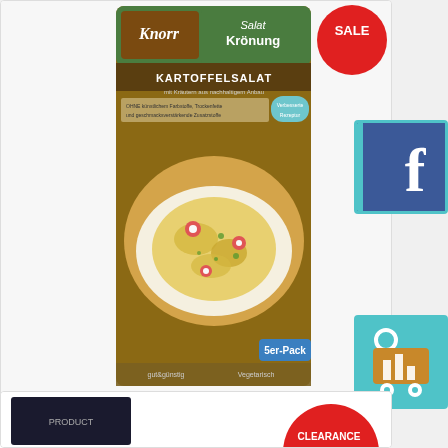[Figure (photo): Knorr Salat Krönung Kartoffelsalat 5er-Pack product package with potato salad on the front, with a red SALE badge in the top right corner. Facebook icon and shopping cart icon visible on the right sidebar.]
NZD 4.70
NZD 2.82
KNORR GERMAN POTATO SALAD DRESSING MIX 5-PACK BB 31/08/2022
1 item in stock
Add to cart
[Figure (photo): Partially visible bottom product card with a CLEARANCE badge (red circle) on the right and a dark product box partially visible on the left.]